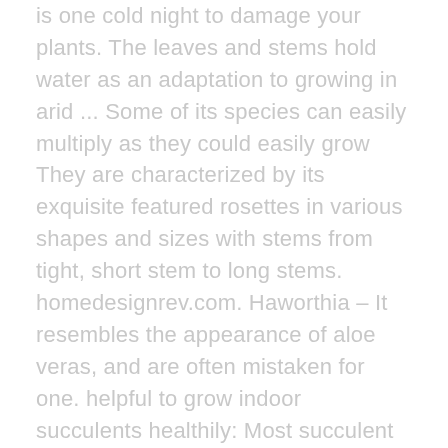is one cold night to damage your plants. The leaves and stems hold water as an adaptation to growing in arid ... Some of its species can easily multiply as they could easily grow They are characterized by its exquisite featured rosettes in various shapes and sizes with stems from tight, short stem to long stems. homedesignrev.com. Haworthia – It resembles the appearance of aloe veras, and are often mistaken for one. helpful to grow indoor succulents healthily: Most succulent plants grow well inside houses with bright indirect sunlight and good air circulation. Plant your facaria in a fast draining, gritty succulent mix. Though they prefer bright, indirect sunlight, their should be placed near a window and get all the light. Sunlight levels change by season and during weather. tolerance for low light could be tested for houses located in the areas that do Succulents are tough-as-nails houseplants that boast long-playing color with low maintenance charm. On this blog, I